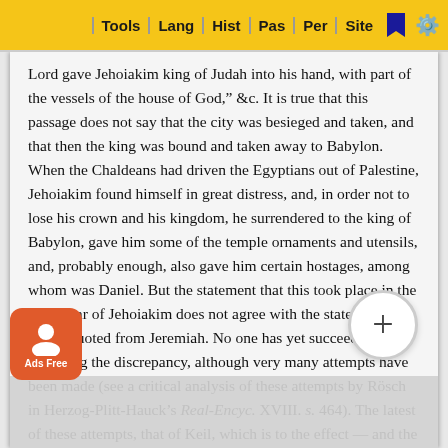Tools | Lang | Hist | Pas | Per | Site
Lord gave Jehoiakim king of Judah into his hand, with part of the vessels of the house of God," &c. It is true that this passage does not say that the city was besieged and taken, and that then the king was bound and taken away to Babylon. When the Chaldeans had driven the Egyptians out of Palestine, Jehoiakim found himself in great distress, and, in order not to lose his crown and his kingdom, he surrendered to the king of Babylon, gave him some of the temple ornaments and utensils, and, probably enough, also gave him certain hostages, among whom was Daniel. But the statement that this took place in the third year of Jehoiakim does not agree with the statements above quoted from Jeremiah. No one has yet succeeded in removing the discrepancy, although very many attempts have been made (see a critical analysis of these attempts by Rösch in Herzog-Plitt-Hauck's Real-Encyc. XVIII. s. 464). The latest of these attempts, that of Keil, which is to the effect — and the third year of Jehoiakim is the status quo of Ne